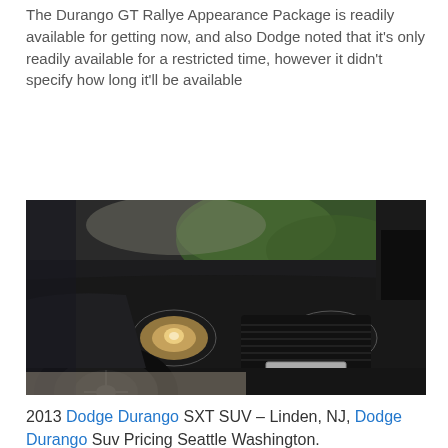The Durango GT Rallye Appearance Package is readily available for getting now, and also Dodge noted that it's only readily available for a restricted time, however it didn't specify how long it'll be available
[Figure (photo): Front view of a black Dodge Durango SUV photographed from the driver's side front corner, showing the hood, headlights, grille, and front wheel with black rim, parked on pavement.]
2013 Dodge Durango SXT SUV – Linden, NJ, Dodge Durango Suv Pricing Seattle Washington.